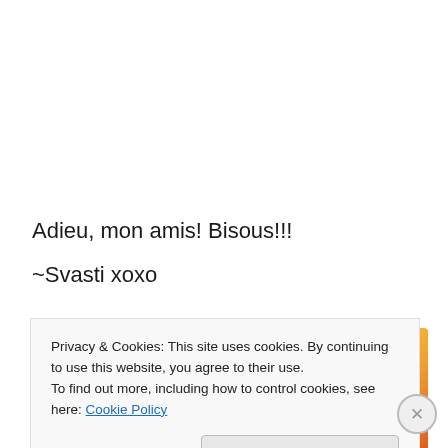Adieu, mon amis! Bisous!!!
~Svasti xoxo
[Figure (photo): Close-up photo of an orange/yellow patterned item (likely a bag or wallet) with red accents and diagonal white lines, partially visible at the bottom of the page.]
Privacy & Cookies: This site uses cookies. By continuing to use this website, you agree to their use.
To find out more, including how to control cookies, see here: Cookie Policy
Close and accept